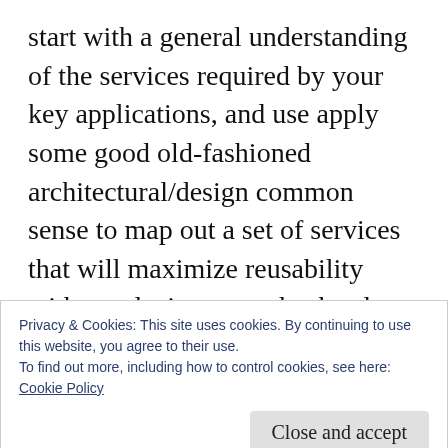start with a general understanding of the services required by your key applications, and use apply some good old-fashioned architectural/design common sense to map out a set of services that will maximize reusability without placing an undue burden on the calling applications. By considering the requirements of more than one application during this exercise, you will at least be forcing yourself to consider some level of reusability. There’s a lot of arguments about how granular is too
Privacy & Cookies: This site uses cookies. By continuing to use this website, you agree to their use.
To find out more, including how to control cookies, see here:
Cookie Policy
fundamentally different than developing